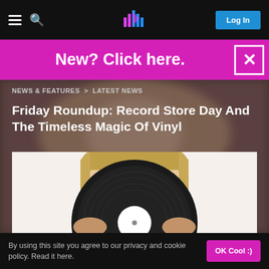NEWS & FEATURES > LATEST NEWS
Friday Roundup: Record Store Day And The Timeless Magic Of Vinyl
[Figure (photo): Person holding a large black vinyl record up to their face, obscuring everything below their eyes. The person has straight blonde hair with bangs and blue eyes visible above the record.]
By using this site you agree to our privacy and cookie policy. Read it here.